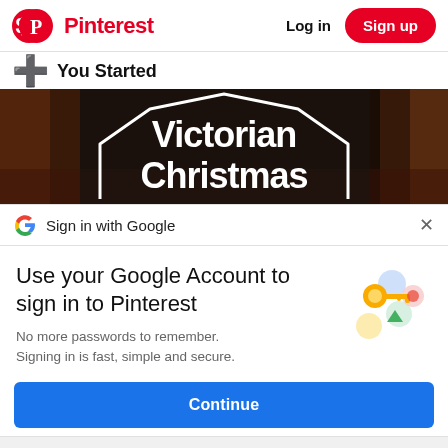Pinterest  Log in  Sign up
You Started
[Figure (photo): Victorian Christmas banner image showing a dark interior room with Christmas decorations, and bold white text reading 'Victorian Christmas' inside a decorative house-shaped frame outline.]
Sign in with Google
Use your Google Account to sign in to Pinterest
No more passwords to remember.
Signing in is fast, simple and secure.
[Figure (illustration): Google account illustration showing a golden key and colorful circles (blue, yellow, green, pink) representing Google sign-in.]
Continue